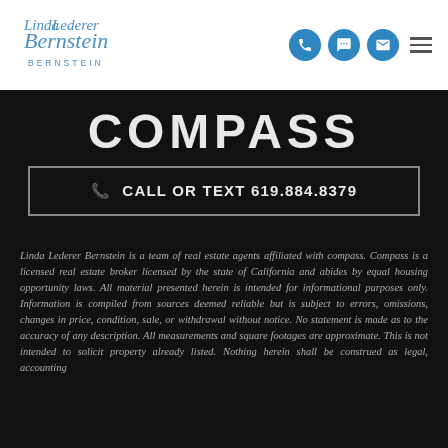[Figure (logo): Linda Lederer Bernstein cursive logo in blue]
Call or Text 619.884.8379 | Icons: phone, chat, email, menu
COMPASS
CALL OR TEXT 619.884.8379
Linda Lederer Bernstein is a team of real estate agents affiliated with compass. Compass is a licensed real estate broker licensed by the state of California and abides by equal housing opportunity laws. All material presented herein is intended for informational purposes only. Information is compiled from sources deemed reliable but is subject to errors, omissions, changes in price, condition, sale, or withdrawal without notice. No statement is made as to the accuracy of any description. All measurements and square footages are approximate. This is not intended to solicit property already listed. Nothing herein shall be construed as legal, accounting